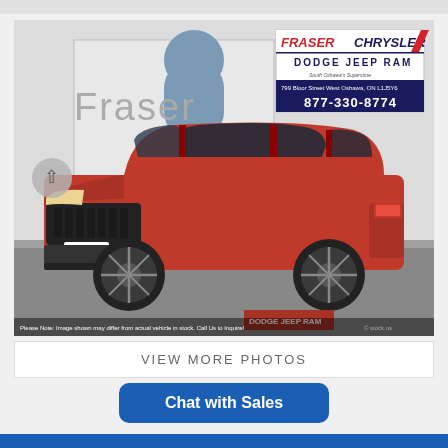[Figure (photo): Red Jeep Compass SUV parked in front of Fraser Chrysler Dodge Jeep Ram dealership. The vehicle is red with black wheels. A dealer badge in the top-right corner shows Fraser Chrysler Dodge Jeep Ram logo, address 799 Bloor Street West Oshawa, ON L1J5Y6, and phone 877-330-8774. A navigation arrow is on the left side. Disclaimer text at the bottom reads: Please Note: Image shown may differ from actual vehicle in stock. Call Us to Inquire!]
VIEW MORE PHOTOS
Chat with Sales